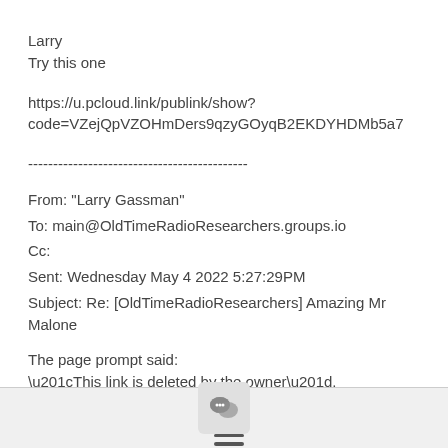Larry
Try this one
https://u.pcloud.link/publink/show?code=VZejQpVZOHmDers9qzyGOyqB2EKDYHDMb5a7
--------------------------------------------
From: "Larry Gassman"
To: main@OldTimeRadioResearchers.groups.io
Cc:
Sent: Wednesday May 4 2022 5:27:29PM
Subject: Re: [OldTimeRadioResearchers] Amazing Mr Malone
The page prompt said:
“This link is deleted by the owner”.
Larry
[Figure (other): Footer bar with chat bubble icon button and hamburger menu icon]